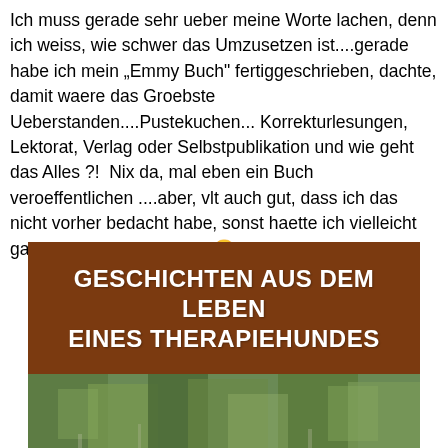Ich muss gerade sehr ueber meine Worte lachen, denn ich weiss, wie schwer das Umzusetzen ist....gerade habe ich mein „Emmy Buch" fertiggeschrieben, dachte, damit waere das Groebste Ueberstanden....Pustekuchen... Korrekturlesungen, Lektorat, Verlag oder Selbstpublikation und wie geht das Alles ?!  Nix da, mal eben ein Buch veroeffentlichen ....aber, vlt auch gut, dass ich das nicht vorher bedacht habe, sonst haette ich vielleicht gar nicht erst angefangen 😉
[Figure (photo): Book cover image showing brown banner with white bold text 'GESCHICHTEN AUS DEM LEBEN EINES THERAPIEHUNDES' above a photo of a dog outdoors with green trees in background]